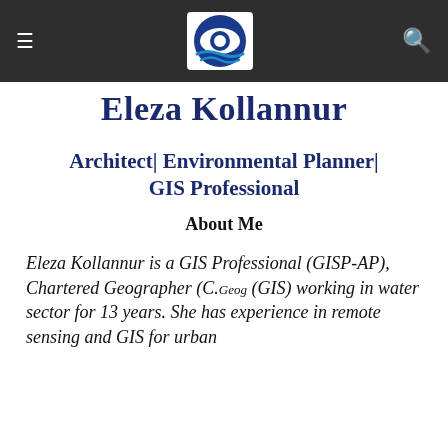≡  [logo]  Eleza Kollannur  🔍
Eleza Kollannur
Architect| Environmental Planner| GIS Professional
About Me
Eleza Kollannur is a GIS Professional (GISP-AP), Chartered Geographer (C.Geog (GIS) working in water sector for 13 years. She has experience in remote sensing and GIS for urban